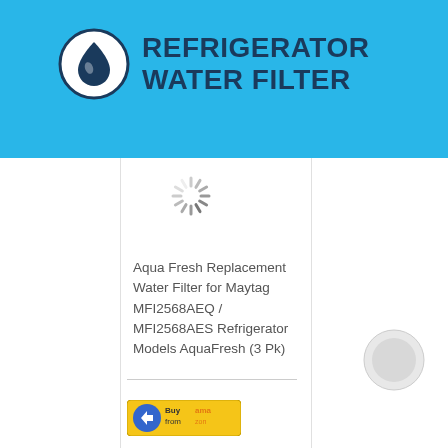[Figure (logo): Refrigerator Water Filter logo with water drop icon in circle and bold text reading REFRIGERATOR WATER FILTER on cyan/blue header background]
[Figure (other): Loading spinner (gray radial lines) indicating image loading in progress]
Aqua Fresh Replacement Water Filter for Maytag MFI2568AEQ / MFI2568AES Refrigerator Models AquaFresh (3 Pk)
[Figure (other): Buy from Amazon button - oval shaped button with Amazon logo and orange/yellow colors]
[Figure (other): Secondary loading spinner circle on right side]